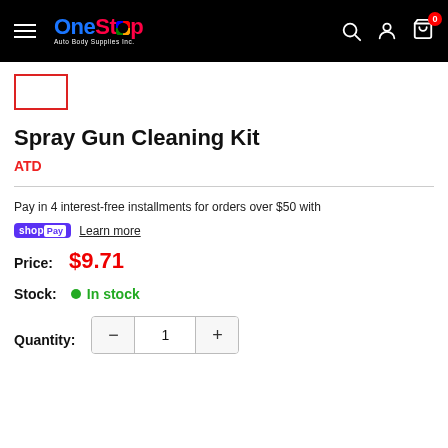OneStop Auto Body Supplies Inc. — Navigation bar with search, account, and cart (0 items)
[Figure (screenshot): Small red-bordered thumbnail image placeholder below nav bar]
Spray Gun Cleaning Kit
ATD
Pay in 4 interest-free installments for orders over $50 with
shopPay  Learn more
Price: $9.71
Stock: In stock
Quantity: 1